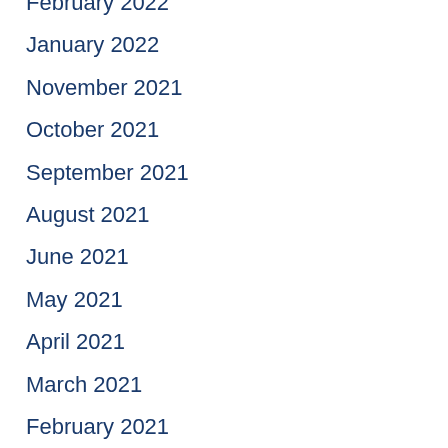February 2022
January 2022
November 2021
October 2021
September 2021
August 2021
June 2021
May 2021
April 2021
March 2021
February 2021
January 2021
December 2020
November 2020
October 2020
September 2020
August 2020